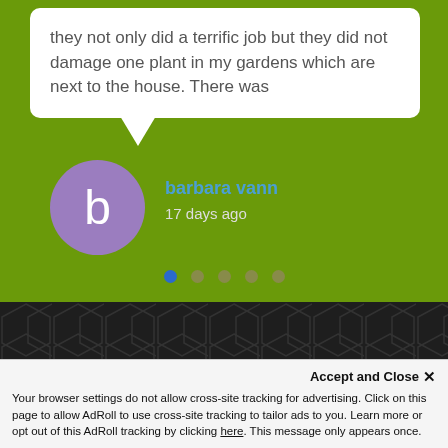they not only did a terrific job but they did not damage one plant in my gardens which are next to the house. There was
barbara vann
17 days ago
[Figure (other): Pagination dots: 5 dots, first one filled blue, rest grey]
[Figure (infographic): Dark section with hexagon pattern background and Join Our Mailing List heading]
Join Our Mailing List
Accept and Close ✕
Your browser settings do not allow cross-site tracking for advertising. Click on this page to allow AdRoll to use cross-site tracking to tailor ads to you. Learn more or opt out of this AdRoll tracking by clicking here. This message only appears once.